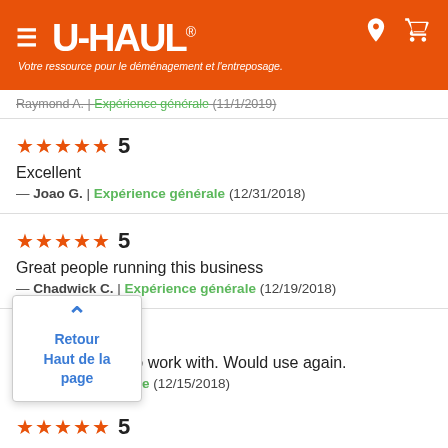[Figure (logo): U-Haul logo on orange header with hamburger menu, location and cart icons, and tagline 'Votre ressource pour le déménagement et l'entreposage.']
Raymond A. | Expérience générale (11/1/2019)
★★★★★ 5
Excellent
— Joao G. | Expérience générale (12/31/2018)
★★★★★ 5
Great people running this business
— Chadwick C. | Expérience générale (12/19/2018)
★★★★★ 5
Friendly people to work with. Would use again.
— ... nce générale (12/15/2018)
Retour
Haut de la page
★★★★★ 5